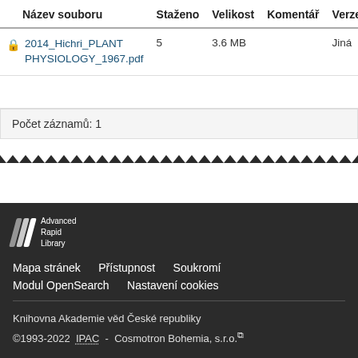| Název souboru | Staženo | Velikost | Komentář | Verze |
| --- | --- | --- | --- | --- |
| 2014_Hichri_PLANT PHYSIOLOGY_1967.pdf | 5 | 3.6 MB |  | Jiná |
Počet záznamů: 1
Advanced Rapid Library
Mapa stránek  Přístupnost  Soukromí
Modul OpenSearch  Nastavení cookies
Knihovna Akademie věd České republiky
©1993-2022  IPAC  -  Cosmotron Bohemia, s.r.o.